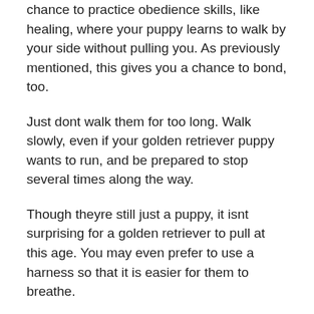chance to practice obedience skills, like healing, where your puppy learns to walk by your side without pulling you. As previously mentioned, this gives you a chance to bond, too.
Just dont walk them for too long. Walk slowly, even if your golden retriever puppy wants to run, and be prepared to stop several times along the way.
Though theyre still just a puppy, it isnt surprising for a golden retriever to pull at this age. You may even prefer to use a harness so that it is easier for them to breathe.
Here are a few of our favorite leads and harnesses suitable for a golden retriever puppy:
Neutering Can Cause Health Issues To A Golden Retriever